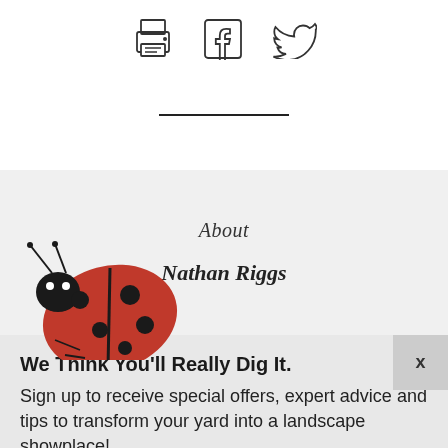[Figure (illustration): Three social sharing icons in a row: a printer icon, a Facebook icon, and a Twitter bird icon, rendered as outline sketches]
[Figure (illustration): A horizontal black divider line centered on the page]
About
Nathan Riggs
[Figure (photo): A red ladybug with black spots photographed on a white background, positioned in the lower-left area]
x
We Think You'll Really Dig It.
Sign up to receive special offers, expert advice and tips to transform your yard into a landscape showplace!